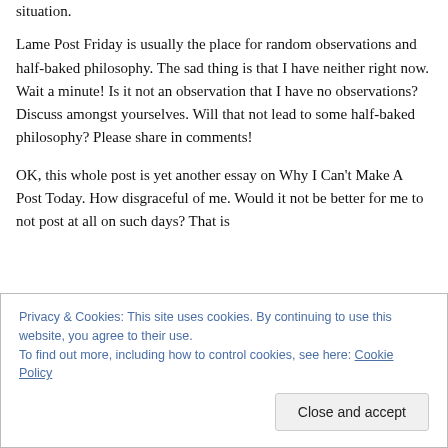situation.
Lame Post Friday is usually the place for random observations and half-baked philosophy.  The sad thing is that I have neither right now.  Wait a minute! Is it not an observation that I have no observations?   Discuss amongst yourselves.  Will that not lead to some half-baked philosophy?  Please share in comments!
OK, this whole post is yet another essay on Why I Can't Make A Post Today.  How disgraceful of me.  Would it not be better for me to not post at all on such days?  That is
Privacy & Cookies: This site uses cookies. By continuing to use this website, you agree to their use.
To find out more, including how to control cookies, see here: Cookie Policy
Close and accept